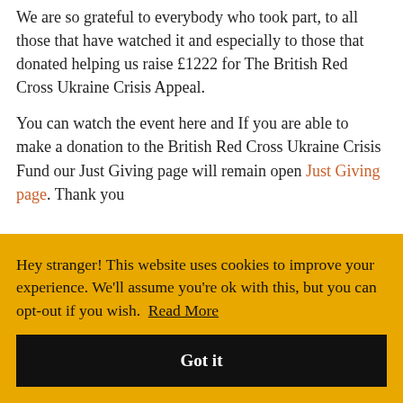We are so grateful to everybody who took part, to all those that have watched it and especially to those that donated helping us raise £1222 for The British Red Cross Ukraine Crisis Appeal.
You can watch the event here and If you are able to make a donation to the British Red Cross Ukraine Crisis Fund our Just Giving page will remain open Just Giving page. Thank you
Hey stranger! This website uses cookies to improve your experience. We'll assume you're ok with this, but you can opt-out if you wish.  Read More
Got it